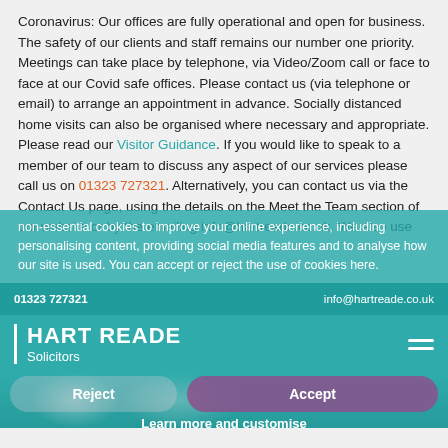Coronavirus: Our offices are fully operational and open for business. The safety of our clients and staff remains our number one priority. Meetings can take place by telephone, via Video/Zoom call or face to face at our Covid safe offices. Please contact us (via telephone or email) to arrange an appointment in advance. Socially distanced home visits can also be organised where necessary and appropriate. Please read our Visitor Guidance. If you would like to speak to a member of our team to discuss any aspect of our services please call us on 01323 727321. Alternatively, you can contact us via the Contact Us page, using the details on the Meet the Team section of our website or by the emailing info@hartreade.co.uk. We also use cookies. Thank you for your continued co-operation.
We also use cookies to enable our website to function correctly. We also use non-essential cookies to improve your online experience, including personalising content, providing social media features and to analyse how our site is used. You can accept or reject the use of cookies here.
01323 727321   info@hartreade.co.uk
[Figure (logo): Hart Reade Solicitors logo — white text with vertical bar divider on teal background]